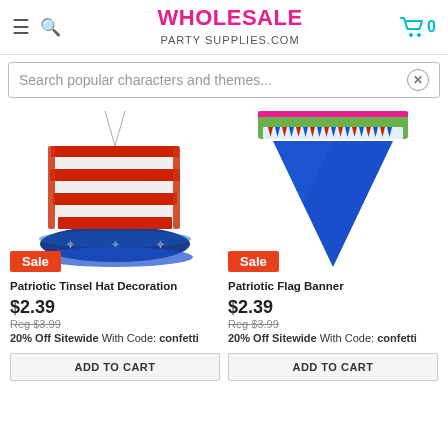WHOLESALE PARTY SUPPLIES.COM
Search popular characters and themes...
[Figure (photo): Patriotic tinsel hat decoration with red and white striped top and blue brim with silver stars, with a Sale badge overlay]
[Figure (photo): Patriotic flag banner - large blue triangular pennant flag with multi-colored flag chain packaging, with a Sale badge overlay]
Patriotic Tinsel Hat Decoration
$2.39
Reg $3.99
20% Off Sitewide With Code: confetti
Patriotic Flag Banner
$2.39
Reg $3.99
20% Off Sitewide With Code: confetti
ADD TO CART
ADD TO CART